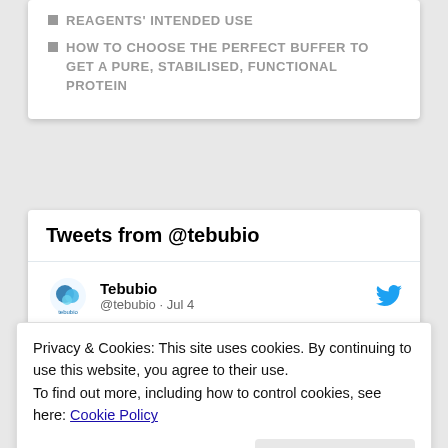REAGENTS' INTENDED USE
HOW TO CHOOSE THE PERFECT BUFFER TO GET A PURE, STABILISED, FUNCTIONAL PROTEIN
Tweets from @tebubio
Tebubio @tebubio · Jul 4
🧡 Thanks @reseaubiotechno

That's a great pleasure to
Privacy & Cookies: This site uses cookies. By continuing to use this website, you agree to their use.
To find out more, including how to control cookies, see here: Cookie Policy
Close and accept